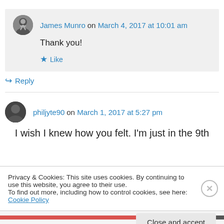James Munro on March 4, 2017 at 10:01 am
Thank you!
Like
Reply
philjyte90 on March 1, 2017 at 5:27 pm
I wish I knew how you felt. I'm just in the 9th
Privacy & Cookies: This site uses cookies. By continuing to use this website, you agree to their use.
To find out more, including how to control cookies, see here: Cookie Policy
Close and accept